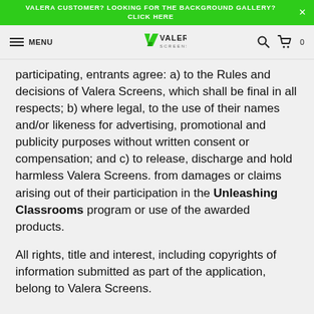VALERA CUSTOMER? LOOKING FOR THE BACKGROUND GALLERY? CLICK HERE
participating, entrants agree: a) to the Rules and decisions of Valera Screens, which shall be final in all respects; b) where legal, to the use of their names and/or likeness for advertising, promotional and publicity purposes without written consent or compensation; and c) to release, discharge and hold harmless Valera Screens. from damages or claims arising out of their participation in the Unleashing Classrooms program or use of the awarded products.
All rights, title and interest, including copyrights of information submitted as part of the application, belong to Valera Screens.